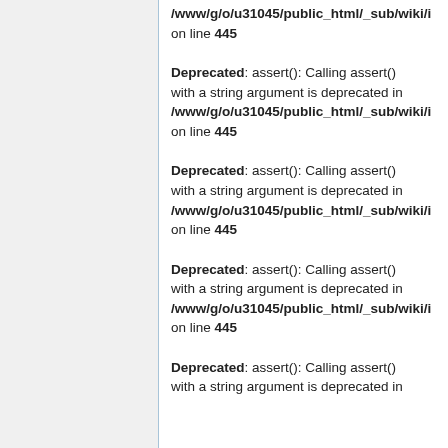/www/g/o/u31045/public_html/_sub/wiki/... on line 445
Deprecated: assert(): Calling assert() with a string argument is deprecated in /www/g/o/u31045/public_html/_sub/wiki/... on line 445
Deprecated: assert(): Calling assert() with a string argument is deprecated in /www/g/o/u31045/public_html/_sub/wiki/... on line 445
Deprecated: assert(): Calling assert() with a string argument is deprecated in /www/g/o/u31045/public_html/_sub/wiki/... on line 445
Deprecated: assert(): Calling assert() with a string argument is deprecated in /www/g/o/u31045/public_html/_sub/wiki/...